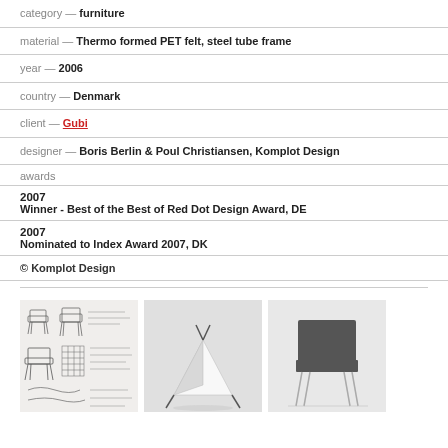category — furniture
material — Thermo formed PET felt, steel tube frame
year — 2006
country — Denmark
client — Gubi
designer — Boris Berlin & Poul Christiansen, Komplot Design
awards
2007
Winner - Best of the Best of Red Dot Design Award, DE
2007
Nominated to Index Award 2007, DK
© Komplot Design
[Figure (illustration): Sketch drawings of a chair design with handwritten notes]
[Figure (photo): Photo of a white folded object or chair component against white background]
[Figure (photo): Photo of a dark grey chair with steel tube legs against white background]